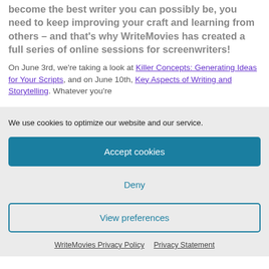become the best writer you can possibly be, you need to keep improving your craft and learning from others – and that's why WriteMovies has created a full series of online sessions for screenwriters!
On June 3rd, we're taking a look at Killer Concepts: Generating Ideas for Your Scripts, and on June 10th, Key Aspects of Writing and Storytelling. Whatever you're
We use cookies to optimize our website and our service.
Accept cookies
Deny
View preferences
WriteMovies Privacy Policy   Privacy Statement